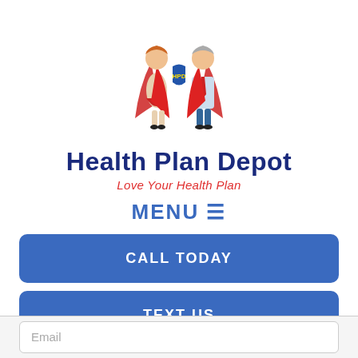[Figure (illustration): Two superhero characters (a girl with red cape and a man with red cape) holding a blue shield with 'HPD' text, representing the Health Plan Depot mascots]
Health Plan Depot
Love Your Health Plan
MENU ≡
CALL TODAY
TEXT US
Email